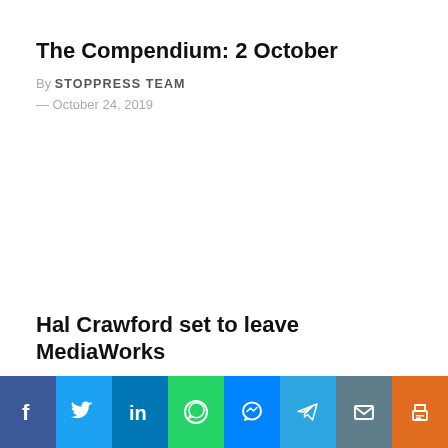The Compendium: 2 October
By STOPPRESS TEAM — October 24, 2019
Hal Crawford set to leave MediaWorks
By STOPPRESS TEAM — October 24, 2019
[Figure (infographic): Social sharing bar with icons for Facebook, Twitter, LinkedIn, WhatsApp, Messenger, Telegram, Email, and Print]